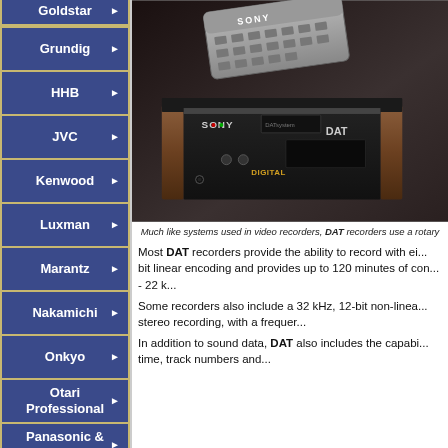Goldstar ▶
Grundig ▶
HHB ▶
JVC ▶
Kenwood ▶
Luxman ▶
Marantz ▶
Nakamichi ▶
Onkyo ▶
Otari Professional ▶
Panasonic & Technics ▶
Philips ▶
[Figure (photo): Photo of a Sony DAT recorder with remote control on top, wooden side panels and front panel showing SONY DAT branding and DIGITAL text.]
Much like systems used in video recorders, DAT recorders use a rotary
Most DAT recorders provide the ability to record with ei... bit linear encoding and provides up to 120 minutes of con... - 22 k...
Some recorders also include a 32 kHz, 12-bit non-linea... stereo recording, with a frequer...
In addition to sound data, DAT also includes the capabi... time, track numbers and...